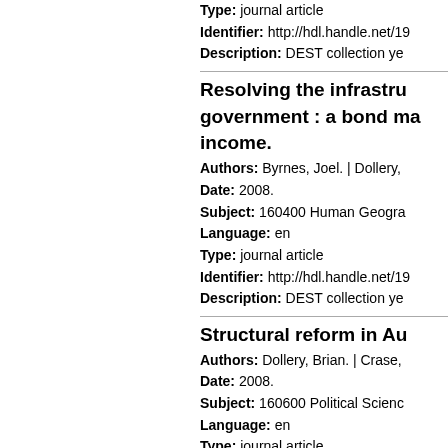Type: journal article
Identifier: http://hdl.handle.net/19...
Description: DEST collection ye...
Resolving the infrastru... government : a bond ma... income.
Authors: Byrnes, Joel. | Dollery,...
Date: 2008.
Subject: 160400 Human Geogra...
Language: en
Type: journal article
Identifier: http://hdl.handle.net/19...
Description: DEST collection ye...
Structural reform in Au...
Authors: Dollery, Brian. | Crase,...
Date: 2008.
Subject: 160600 Political Scienc...
Language: en
Type: journal article
Identifier: http://hdl.handle.net/19...
Description: ERA 2012 (final list...